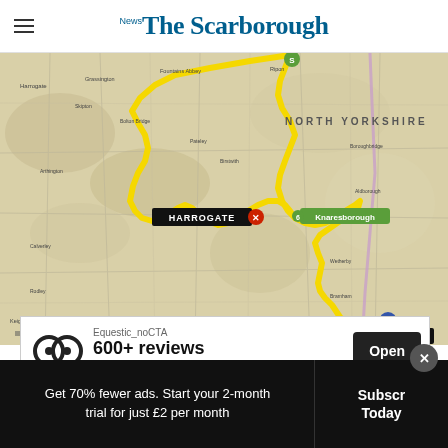The Scarborough News
[Figure (map): Route map of North Yorkshire showing a yellow cycling route from Ripon area through Harrogate to Tadcaster, with road markings, place names including HARROGATE and TADCASTER labeled in black boxes, and Knaresborough marked in green.]
[Figure (other): Advertisement banner: Equestic_noCTA logo with text '600+ reviews' and an Open button]
Get 70% fewer ads. Start your 2-month trial for just £2 per month
Subscribe Today